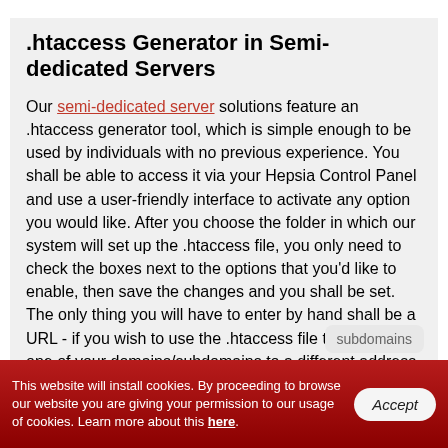.htaccess Generator in Semi-dedicated Servers
Our semi-dedicated server solutions feature an .htaccess generator tool, which is simple enough to be used by individuals with no previous experience. You shall be able to access it via your Hepsia Control Panel and use a user-friendly interface to activate any option you would like. After you choose the folder in which our system will set up the .htaccess file, you only need to check the boxes next to the options that you'd like to enable, then save the changes and you shall be set. The only thing you will have to enter by hand shall be a URL - if you wish to use the .htaccess file to forward one of your domains/subdomains to a different address or if you want to use customized
This website will install cookies. By proceeding to browse our website you are giving your permission to our usage of cookies. Learn more about this here.